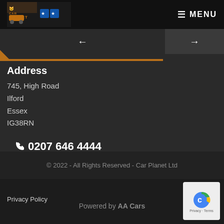CAR PLANET  ≡ MENU
[Figure (logo): Car Planet logo with car icon and accreditation badges]
← →
Address
745, High Road
Ilford
Essex
IG38RN
📞0207 646 4444
📱07846 141 493
✉infocarplanet@gmail.com
© 2022 - All Rights Reserved - Car Planet Ltd
Privacy Policy
Powered by AA Cars